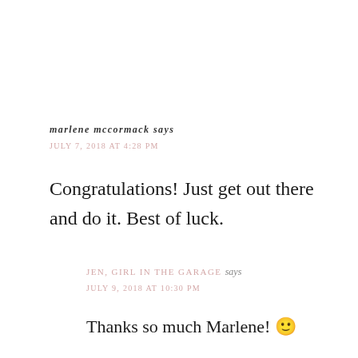marlene mccormack says
JULY 7, 2018 AT 4:28 PM
Congratulations! Just get out there and do it. Best of luck.
JEN, GIRL IN THE GARAGE says
JULY 9, 2018 AT 10:30 PM
Thanks so much Marlene! 🙂